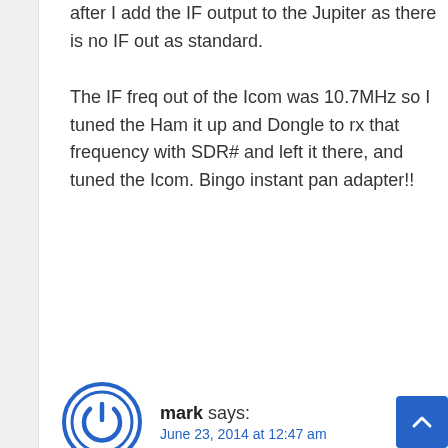after I add the IF output to the Jupiter as there is no IF out as standard. The IF freq out of the Icom was 10.7MHz so I tuned the Ham it up and Dongle to rx that frequency with SDR# and left it there, and tuned the Icom. Bingo instant pan adapter!!
REPLY
mark says:
June 23, 2014 at 12:47 am